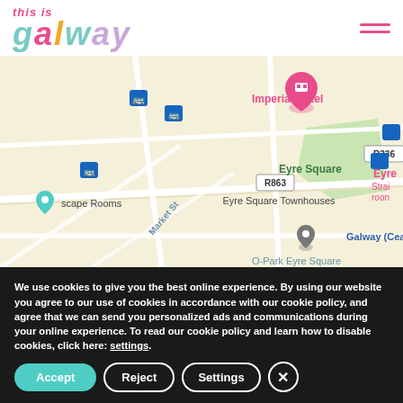this is galway
[Figure (map): Google Maps view of Eyre Square area in Galway, Ireland, showing Imperial Hotel, Eyre Square, Eyre Square Townhouses, Galway (Ceannt) station, Market St, R863 and R336 roads, with bus stop icons and location pins.]
We use cookies to give you the best online experience. By using our website you agree to our use of cookies in accordance with our cookie policy, and agree that we can send you personalized ads and communications during your online experience. To read our cookie policy and learn how to disable cookies, click here: settings.
Accept
Reject
Settings
×